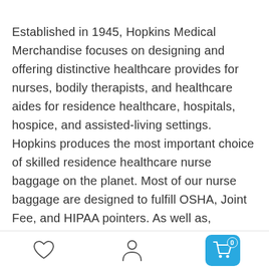Established in 1945, Hopkins Medical Merchandise focuses on designing and offering distinctive healthcare provides for nurses, bodily therapists, and healthcare aides for residence healthcare, hospitals, hospice, and assisted-living settings. Hopkins produces the most important choice of skilled residence healthcare nurse baggage on the planet. Most of our nurse baggage are designed to fulfill OSHA, Joint Fee, and HIPAA pointers. As well as, Hopkins is concerned within the manufacture and distribution of scales, sphygmomanometers, stethoscopes, single affected person MRSA kits, spill kits, thermometers, pulse oximeters, bodily remedy
[heart icon] [person icon] [cart icon with badge 0]